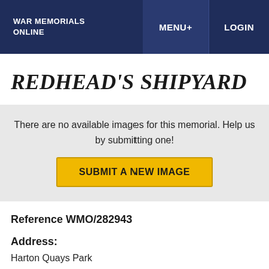WAR MEMORIALS ONLINE  MENU +  LOGIN
REDHEAD'S SHIPYARD
There are no available images for this memorial. Help us by submitting one!
SUBMIT A NEW IMAGE
Reference WMO/282943
Address:
Harton Quays Park